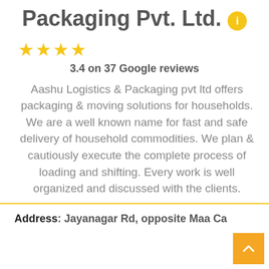Packaging Pvt. Ltd.
3.4 on 37 Google reviews
Aashu Logistics & Packaging pvt ltd offers packaging & moving solutions for households. We are a well known name for fast and safe delivery of household commodities. We plan & cautiously execute the complete process of loading and shifting. Every work is well organized and discussed with the clients.
Address: Jayanagar Rd, opposite Maa Ca